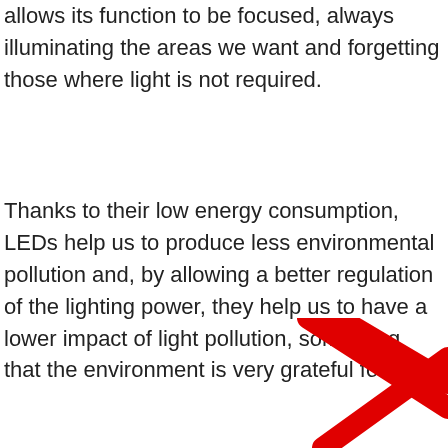allows its function to be focused, always illuminating the areas we want and forgetting those where light is not required.
Thanks to their low energy consumption, LEDs help us to produce less environmental pollution and, by allowing a better regulation of the lighting power, they help us to have a lower impact of light pollution, something that the environment is very grateful for.
[Figure (logo): Red crossed lines forming an X or arrow shape, partial logo mark in bottom right corner]